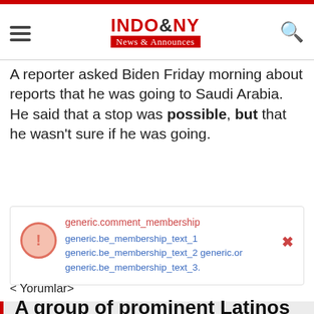INDO & NY News & Announces
A reporter asked Biden Friday morning about reports that he was going to Saudi Arabia. He said that a stop was possible, but that he wasn't sure if he was going.
[Figure (screenshot): Error/membership notification box with exclamation icon, showing text: generic.comment_membership, generic.be_membership_text_1, generic.be_membership_text_2 generic.or generic.be_membership_text_3, with a close X button]
< Yorumlar>
A group of prominent Latinos